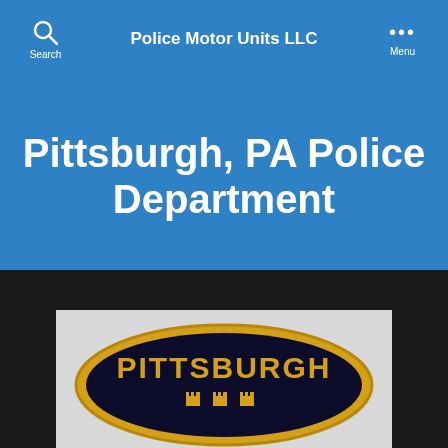Police Motor Units LLC
Pittsburgh, PA Police Department
[Figure (photo): Pittsburgh Police Department embroidered patch — black oval patch with gold border, yellow text reading PITTSBURGH with small castle/fort icons below]